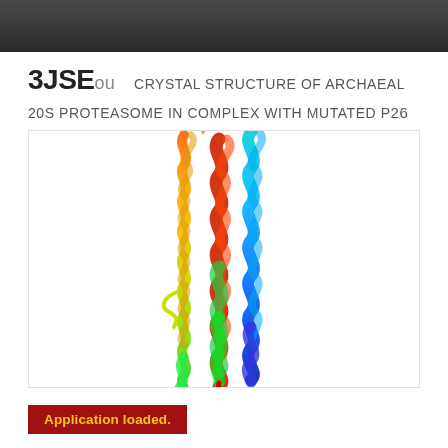3JSEou Crystal structure of archaeal 20S proteasome in complex with mutated p26 activator
[Figure (illustration): 3D ribbon/cartoon representation of a protein structure (PDB: 3JSE chain ou), showing a helical bundle colored in rainbow spectrum from blue (N-terminus) at top to red (C-terminus) at bottom. The structure shows multiple alpha-helices coiled together, rendered from a molecular visualization application.]
Application loaded.